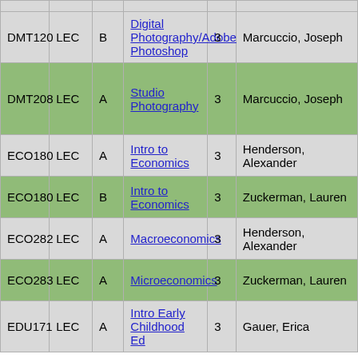| Course | Type | Sec | Title | Cr | Instructor |
| --- | --- | --- | --- | --- | --- |
| DMT120 | LEC | B | Digital Photography/Adobe Photoshop | 3 | Marcuccio, Joseph |
| DMT208 | LEC | A | Studio Photography | 3 | Marcuccio, Joseph |
| ECO180 | LEC | A | Intro to Economics | 3 | Henderson, Alexander |
| ECO180 | LEC | B | Intro to Economics | 3 | Zuckerman, Lauren |
| ECO282 | LEC | A | Macroeconomics | 3 | Henderson, Alexander |
| ECO283 | LEC | A | Microeconomics | 3 | Zuckerman, Lauren |
| EDU171 | LEC | A | Intro Early Childhood Ed | 3 | Gauer, Erica |